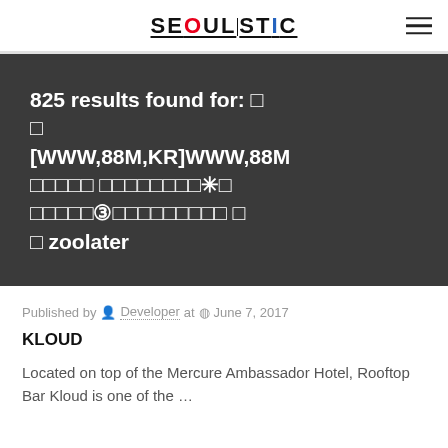SEOULISTIC
825 results found for: □ □ [WWW,88M,KR]WWW,88M □□□□□ □□□□□□□□□✳□ □□□□□③□□□□□□□□□ □ □ zoolater
Published by Developer at June 7, 2017
KLOUD
Located on top of the Mercure Ambassador Hotel, Rooftop Bar Kloud is one of the …